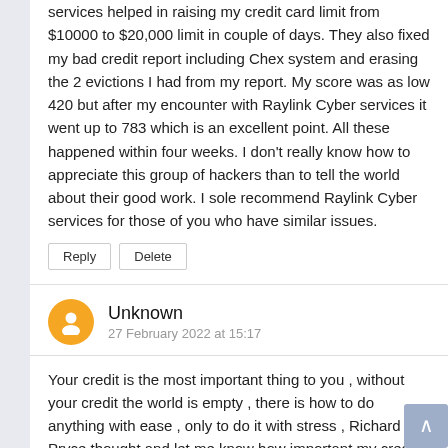services helped in raising my credit card limit from $10000 to $20,000 limit in couple of days. They also fixed my bad credit report including Chex system and erasing the 2 evictions I had from my report. My score was as low 420 but after my encounter with Raylink Cyber services it went up to 783 which is an excellent point. All these happened within four weeks. I don't really know how to appreciate this group of hackers than to tell the world about their good work. I sole recommend Raylink Cyber services for those of you who have similar issues.
Reply   Delete
Unknown
27 February 2022 at 15:17
Your credit is the most important thing to you , without your credit the world is empty , there is how to do anything with ease , only to do it with stress , Richard Pryce thought and let me know how important my credit is , now there is nothing I can solve financially with my good credit score , mail him now on RICHARDREPAIRCREDIT@GMAIL.COM to solve your credit problem and change your life.